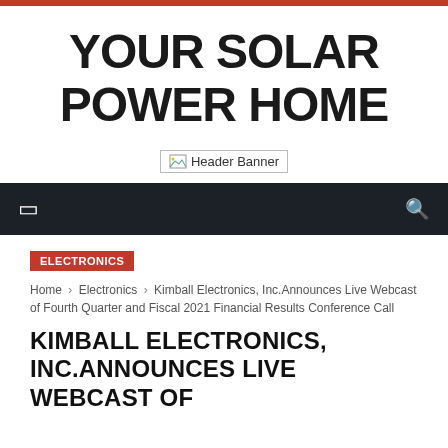YOUR SOLAR POWER HOME
[Figure (other): Header Banner image placeholder]
ELECTRONICS
Home › Electronics › Kimball Electronics, Inc.Announces Live Webcast of Fourth Quarter and Fiscal 2021 Financial Results Conference Call
KIMBALL ELECTRONICS, INC.ANNOUNCES LIVE WEBCAST OF